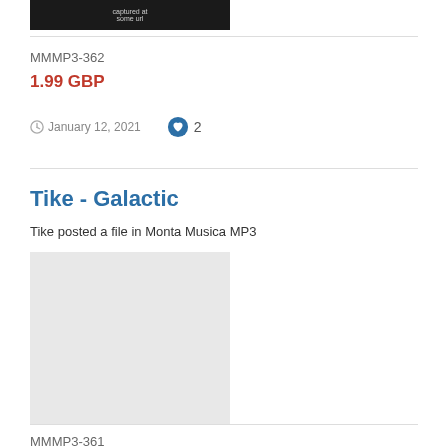[Figure (screenshot): Dark thumbnail image at top]
MMMP3-362
1.99 GBP
January 12, 2021  2
Tike - Galactic
Tike posted a file in Monta Musica MP3
[Figure (photo): Light gray placeholder image]
MMMP3-361